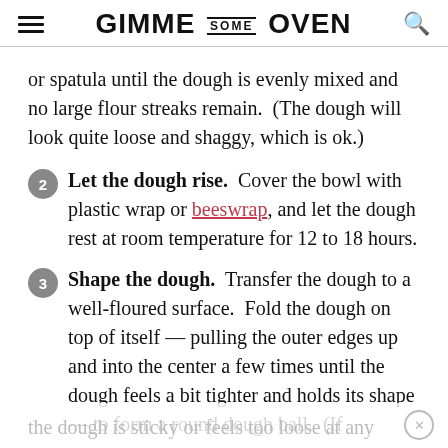GIMME SOME OVEN
or spatula until the dough is evenly mixed and no large flour streaks remain.  (The dough will look quite loose and shaggy, which is ok.)
2 Let the dough rise.  Cover the bowl with plastic wrap or beeswrap, and let the dough rest at room temperature for 12 to 18 hours.
3 Shape the dough.  Transfer the dough to a well-floured surface.  Fold the dough on top of itself — pulling the outer edges up and into the center a few times until the dough feels a bit tighter and holds its shape — to form a round dough ball.  (If
the dough is sticky or feels too loose at any